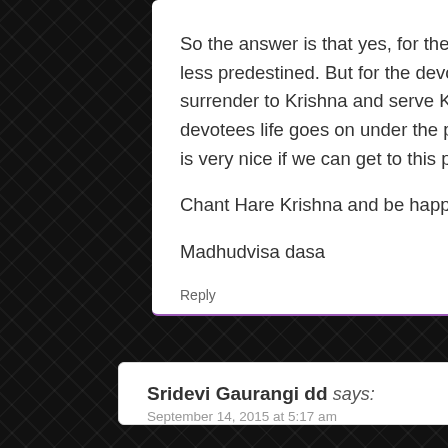So the answer is that yes, for the karmis, everything is more-or-less predestined. But for the devotees it is not fixed. Devotees surrender to Krishna and serve Krishna and everything in a devotees life goes on under the personal guidance of Krishna. It is very nice if we can get to this platform…

Chant Hare Krishna and be happy!

Madhudvisa dasa
Reply
Sridevi Gaurangi dd says:
September 14, 2015 at 5:17 am